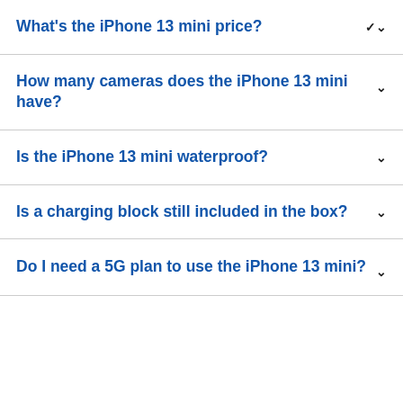What's the iPhone 13 mini price?
How many cameras does the iPhone 13 mini have?
Is the iPhone 13 mini waterproof?
Is a charging block still included in the box?
Do I need a 5G plan to use the iPhone 13 mini?